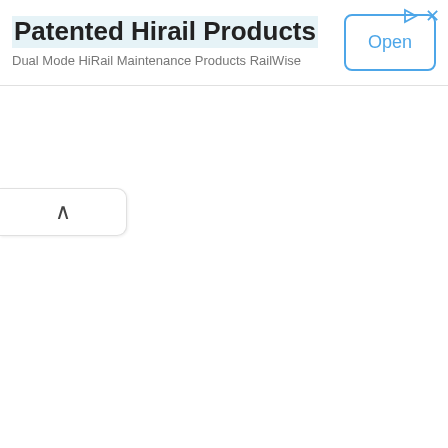Patented Hirail Products
Dual Mode HiRail Maintenance Products RailWise
[Figure (screenshot): Advertisement banner with 'Open' button and close/play icons in top right corner]
[Figure (other): Collapse/expand tab with upward caret chevron on left side of page]